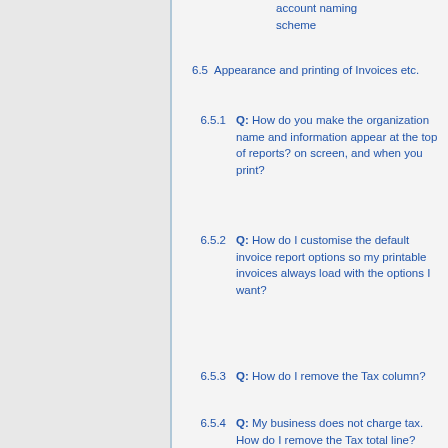account naming scheme
6.5 Appearance and printing of Invoices etc.
6.5.1 Q: How do you make the organization name and information appear at the top of reports? on screen, and when you print?
6.5.2 Q: How do I customise the default invoice report options so my printable invoices always load with the options I want?
6.5.3 Q: How do I remove the Tax column?
6.5.4 Q: My business does not charge tax. How do I remove the Tax total line?